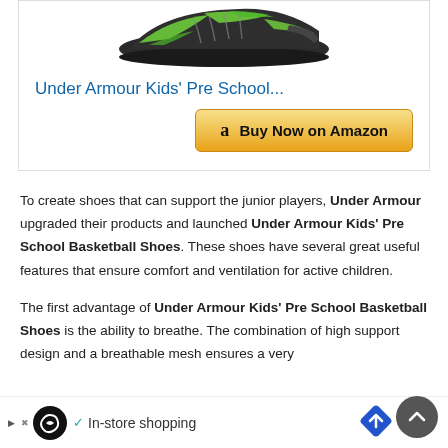[Figure (photo): Under Armour kids basketball shoe in black and green colorway, top-down view]
Under Armour Kids' Pre School...
[Figure (other): Buy Now on Amazon button with Amazon logo]
To create shoes that can support the junior players, Under Armour upgraded their products and launched Under Armour Kids' Pre School Basketball Shoes. These shoes have several great useful features that ensure comfort and ventilation for active children.
The first advantage of Under Armour Kids' Pre School Basketball Shoes is the ability to breathe. The combination of high support design and a breathable mesh ensures a very
[Figure (other): Advertisement bar at bottom: In-store shopping with loop icon and navigation arrow icon]